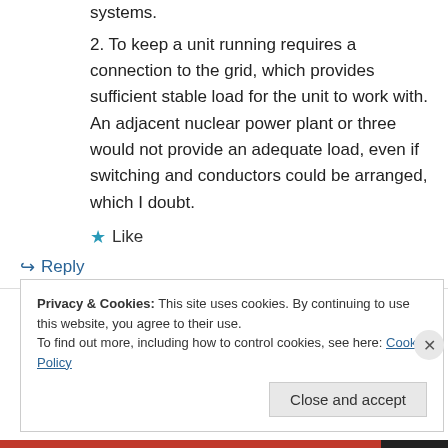systems.
2. To keep a unit running requires a connection to the grid, which provides sufficient stable load for the unit to work with. An adjacent nuclear power plant or three would not provide an adequate load, even if switching and conductors could be arranged, which I doubt.
★ Like
↳ Reply
Privacy & Cookies: This site uses cookies. By continuing to use this website, you agree to their use. To find out more, including how to control cookies, see here: Cookie Policy
Close and accept